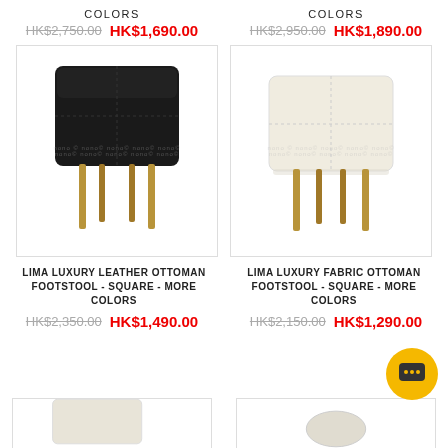COLORS
COLORS
HK$2,750.00  HK$1,690.00
HK$2,950.00  HK$1,890.00
[Figure (photo): Black leather square ottoman footstool with gold/bronze metal legs]
[Figure (photo): White/cream fabric square ottoman footstool with gold/bronze metal legs]
LIMA LUXURY LEATHER OTTOMAN FOOTSTOOL - SQUARE - MORE COLORS
LIMA LUXURY FABRIC OTTOMAN FOOTSTOOL - SQUARE - MORE COLORS
HK$2,350.00  HK$1,490.00
HK$2,150.00  HK$1,290.00
[Figure (photo): Partial bottom product image (left)]
[Figure (photo): Partial bottom product image (right)]